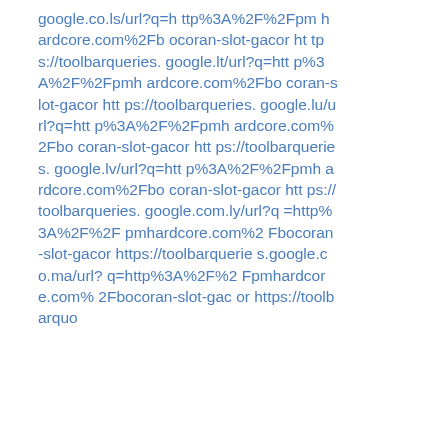google.co.ls/url?q=http%3A%2F%2Fpmhardcore.com%2Fbocoran-slot-gacor https://toolbarqueries.google.lt/url?q=http%3A%2F%2Fpmhardcore.com%2Fbocoran-slot-gacor https://toolbarqueries.google.lu/url?q=http%3A%2F%2Fpmhardcore.com%2Fbocoran-slot-gacor https://toolbarqueries.google.lv/url?q=http%3A%2F%2Fpmhardcore.com%2Fbocoran-slot-gacor https://toolbarqueries.google.com.ly/url?q=http%3A%2F%2Fpmhardcore.com%2Fbocoran-slot-gacor https://toolbarqueries.google.co.ma/url?q=http%3A%2F%2Fpmhardcore.com%2Fbocoran-slot-gacor https://toolbarquo